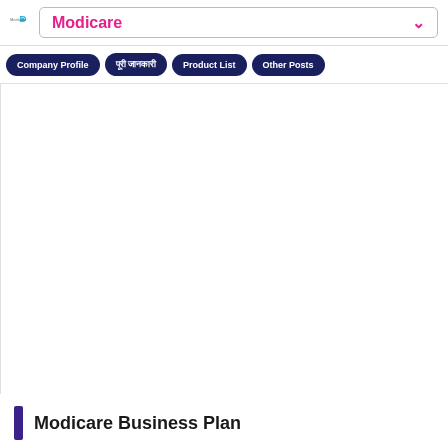Modicare
Company Profile | पूरी जानकारी | Product List | Other Posts
Modicare Business Plan